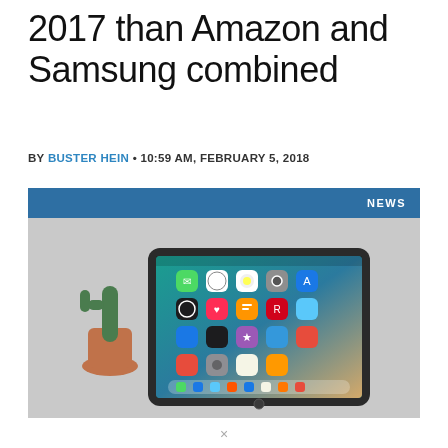2017 than Amazon and Samsung combined
BY BUSTER HEIN • 10:59 AM, FEBRUARY 5, 2018
[Figure (photo): iPad Pro lying flat on a light gray surface, showing iOS home screen with colorful app icons including Messages, Safari, Files, Clock, Photos, Camera, and others. A small potted cactus sits to the left of the iPad, and an Apple Pencil lies to the right. A blue NEWS banner appears at the top of the image.]